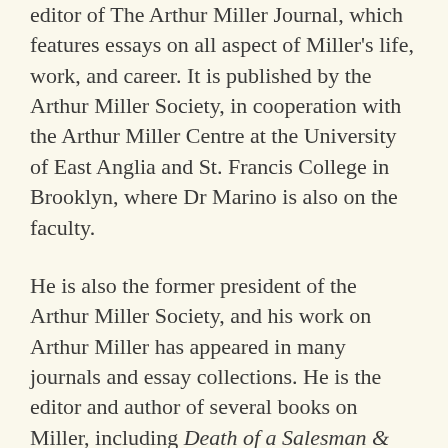editor of The Arthur Miller Journal, which features essays on all aspect of Miller's life, work, and career. It is published by the Arthur Miller Society, in cooperation with the Arthur Miller Centre at the University of East Anglia and St. Francis College in Brooklyn, where Dr Marino is also on the faculty.
He is also the former president of the Arthur Miller Society, and his work on Arthur Miller has appeared in many journals and essay collections. He is the editor and author of several books on Miller, including Death of a Salesman & The Crucible – A Reader's Guide to Essential Criticism (2015), Arthur Miller's Century, Essays Celebrating the 100th Birthday of America's Great Playwright (2017) and most recently